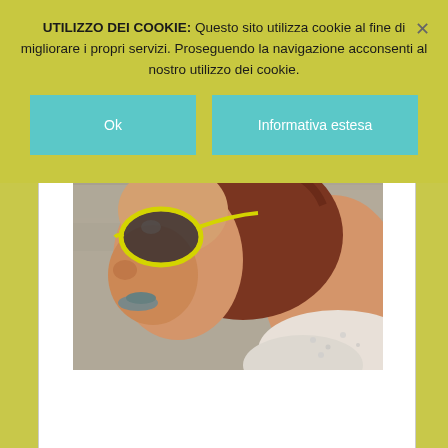UTILIZZO DEI COOKIE: Questo sito utilizza cookie al fine di migliorare i propri servizi. Proseguendo la navigazione acconsenti al nostro utilizzo dei cookie.
Ok
Informativa estesa
[Figure (photo): Close-up photo of a woman wearing yellow-framed sunglasses, side profile view, with blurred stone wall background and white lace or crochet garment visible]